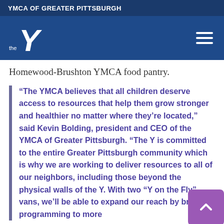YMCA OF GREATER PITTSBURGH
[Figure (logo): YMCA Y logo with 'the' text on blue navigation bar with hamburger menu icon]
Homewood-Brushton YMCA food pantry.
“The YMCA believes that all children deserve access to resources that help them grow stronger and healthier no matter where they’re located,” said Kevin Bolding, president and CEO of the YMCA of Greater Pittsburgh. “The Y is committed to the entire Greater Pittsburgh community which is why we are working to deliver resources to all of our neighbors, including those beyond the physical walls of the Y. With two “Y on the Fly” vans, we’ll be able to expand our reach by bringing programming to more